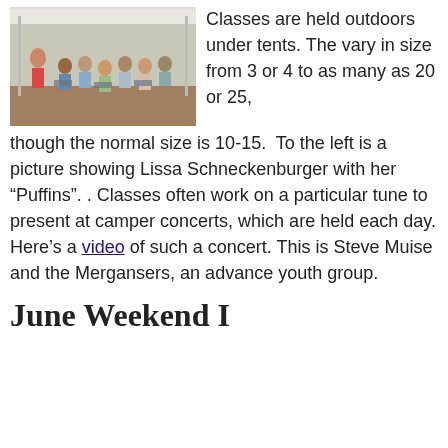[Figure (photo): People sitting in a circle on chairs under an outdoor tent structure on mulch ground, appears to be a music class outdoors.]
Classes are held outdoors under tents. The vary in size from 3 or 4 to as many as 20 or 25, though the normal size is 10-15.  To the left is a picture showing Lissa Schneckenburger with her “Puffins”. . Classes often work on a particular tune to present at camper concerts, which are held each day. Here’s a video of such a concert. This is Steve Muise and the Mergansers, an advance youth group.
June Weekend I